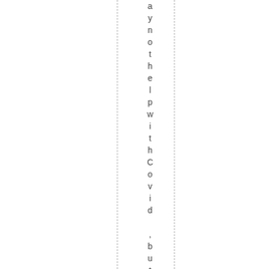another help with Covid, but it's